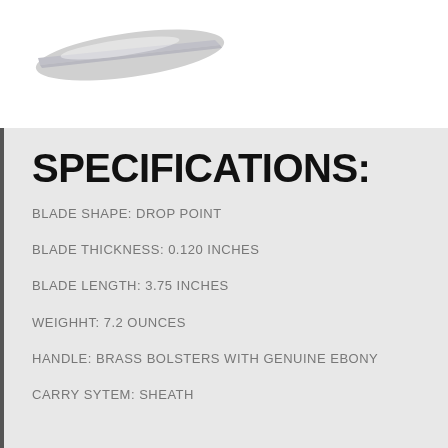[Figure (photo): Partial view of a knife blade shown at an angle against a white background]
SPECIFICATIONS:
BLADE SHAPE: DROP POINT
BLADE THICKNESS: 0.120 INCHES
BLADE LENGTH: 3.75 INCHES
WEIGHHT: 7.2 OUNCES
HANDLE: BRASS BOLSTERS WITH GENUINE EBONY
CARRY SYTEM: SHEATH